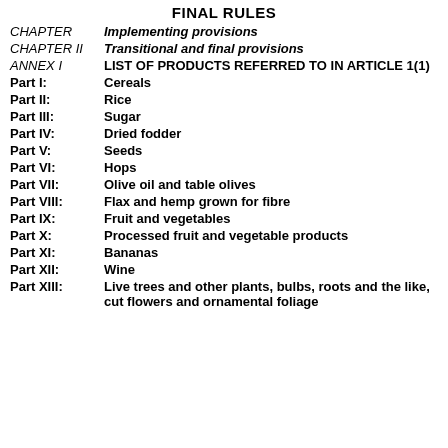FINAL RULES
CHAPTER — Implementing provisions
CHAPTER II — Transitional and final provisions
ANNEX I — LIST OF PRODUCTS REFERRED TO IN ARTICLE 1(1)
Part I: Cereals
Part II: Rice
Part III: Sugar
Part IV: Dried fodder
Part V: Seeds
Part VI: Hops
Part VII: Olive oil and table olives
Part VIII: Flax and hemp grown for fibre
Part IX: Fruit and vegetables
Part X: Processed fruit and vegetable products
Part XI: Bananas
Part XII: Wine
Part XIII: Live trees and other plants, bulbs, roots and the like, cut flowers and ornamental foliage